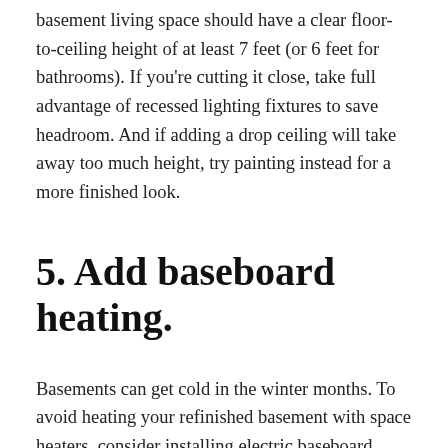basement living space should have a clear floor-to-ceiling height of at least 7 feet (or 6 feet for bathrooms). If you're cutting it close, take full advantage of recessed lighting fixtures to save headroom. And if adding a drop ceiling will take away too much height, try painting instead for a more finished look.
5. Add baseboard heating.
Basements can get cold in the winter months. To avoid heating your refinished basement with space heaters, consider installing electric baseboard heating. Since hot air rises, baseboard heat can help